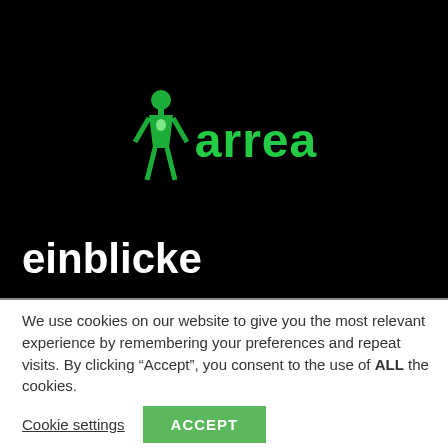[Figure (logo): Arrea logo: green 3D human figure standing next to the word 'arrea' in green bold text, on a black background]
einblicke
We use cookies on our website to give you the most relevant experience by remembering your preferences and repeat visits. By clicking “Accept”, you consent to the use of ALL the cookies.
Cookie settings | ACCEPT